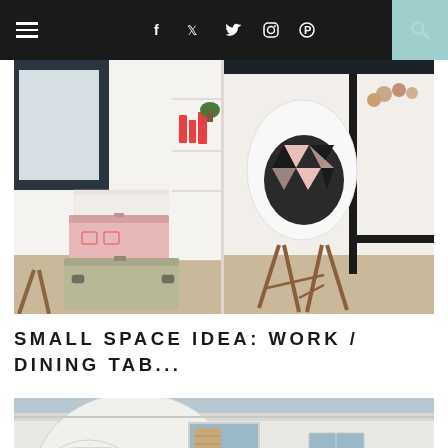Navigation bar with hamburger menu, social icons (f, Twitter, Instagram, Pinterest), and search
[Figure (photo): Interior room photo split into two panels: left shows white room with pink and khaki vintage trunks stacked on a jute rug, shelving with red accessories; right shows a modern white Eames-style chair with geometric black and pink cushion next to a dark wood/black dining table on a jute rug.]
SMALL SPACE IDEA: WORK / DINING TAB...
[Figure (photo): Exterior photo of a white Georgian or Victorian townhouse facade with arched bay window, decorative moldings, and a central window with wooden shutters.]